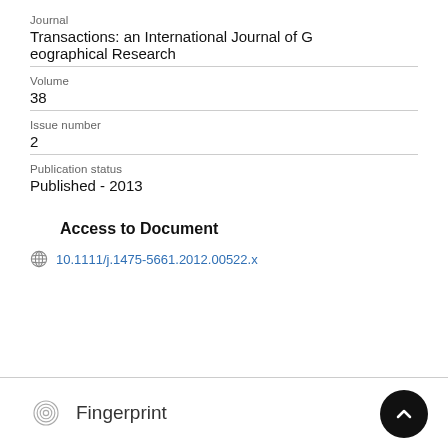Journal
Transactions: an International Journal of Geographical Research
Volume
38
Issue number
2
Publication status
Published - 2013
Access to Document
10.1111/j.1475-5661.2012.00522.x
Fingerprint